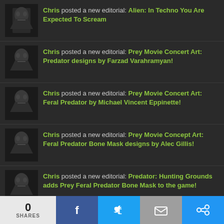Chris posted a new editorial: Alien: In Techno You Are Expected To Scream
Chris posted a new editorial: Prey Movie Concert Art: Predator designs by Farzad Varahramyan!
Chris posted a new editorial: Prey Movie Concert Art: Feral Predator by Michael Vincent Eppinette!
Chris posted a new editorial: Prey Movie Concept Art: Feral Predator Bone Mask designs by Alec Gillis!
Chris posted a new editorial: Predator: Hunting Grounds adds Prey Feral Predator Bone Mask to the game!
Chris posted a new editorial: See the Feral Predator up close in new behind the scenes Prey set photos!
TexansDoitBest commented on BREAKING: New Alien movie officially in development at Disney / 20th Century Studios! from the Alien: Covenant website!
0 SHARES